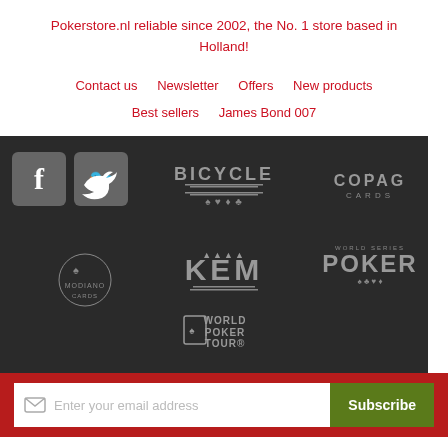Pokerstore.nl reliable since 2002, the No. 1 store based in Holland!
Contact us   Newsletter   Offers   New products
Best sellers   James Bond 007
[Figure (logo): Dark section with social media icons (Facebook, Twitter), and brand logos: Bicycle, Copag Cards, Modiano Cards, KEM, World Series Poker, World Poker Tour]
Enter your email address  Subscribe